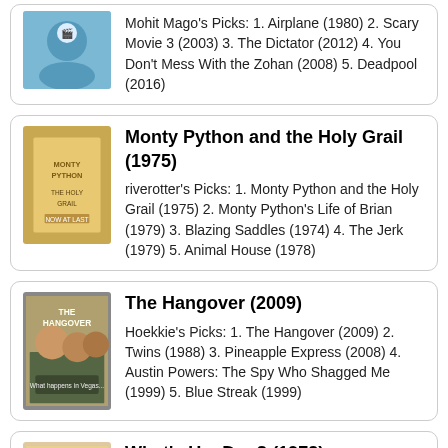Mohit Mago's Picks: 1. Airplane (1980) 2. Scary Movie 3 (2003) 3. The Dictator (2012) 4. You Don't Mess With the Zohan (2008) 5. Deadpool (2016)
Monty Python and the Holy Grail (1975)
riverotter's Picks: 1. Monty Python and the Holy Grail (1975) 2. Monty Python's Life of Brian (1979) 3. Blazing Saddles (1974) 4. The Jerk (1979) 5. Animal House (1978)
The Hangover (2009)
Hoekkie's Picks: 1. The Hangover (2009) 2. Twins (1988) 3. Pineapple Express (2008) 4. Austin Powers: The Spy Who Shagged Me (1999) 5. Blue Streak (1999)
What's Up, Doc? (1972)
Pencho15's Picks: 1. What's Up, Doc? (1972) 2. Away We Go (2009) 3. Spider-Man: Into the Spider-Verse